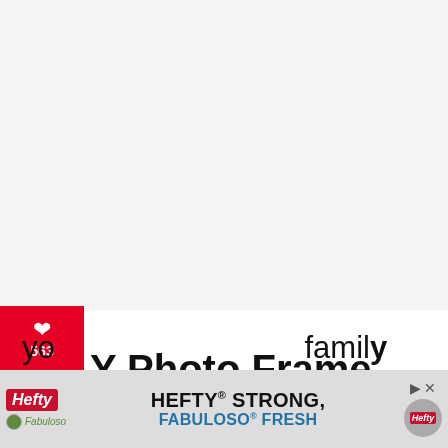[Figure (other): Light gray advertisement or image placeholder area at top of page]
563
SHARES
Y Photo Frame Craft Ideas for mmer
n you think of other accessories you might decorate it with? Maybe you want to make lots of these and use them for yo… family
[Figure (screenshot): Bottom advertisement banner: Hefty / Fabuloso brand — HEFTY STRONG, FABULOSO FRESH with close button and product image]